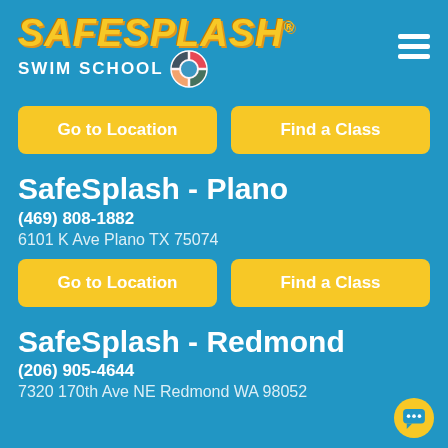[Figure (logo): SafeSplash Swim School logo with yellow italic bold text and colorful life ring icon, plus hamburger menu icon in top right]
Go to Location
Find a Class
SafeSplash - Plano
(469) 808-1882
6101 K Ave Plano TX 75074
Go to Location
Find a Class
SafeSplash - Redmond
(206) 905-4644
7320 170th Ave NE Redmond WA 98052